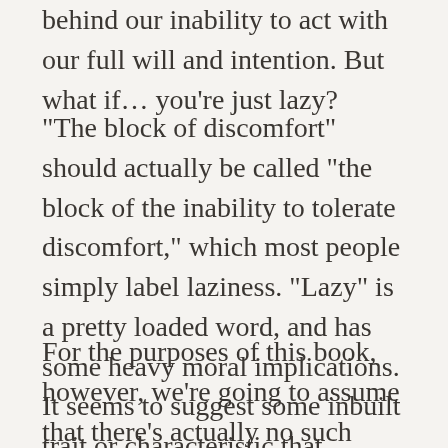behind our inability to act with our full will and intention. But what if… you're just lazy?
“The block of discomfort” should actually be called “the block of the inability to tolerate discomfort,” which most people simply label laziness. “Lazy” is a pretty loaded word, and has some heavy moral implications. It seems to suggest some inbuilt trait or characteristic that prevents people from striving adequately toward their own self-identified goals.
For the purposes of this book, however, we’re going to assume that there’s actually no such thing as laziness. People act against their own interests for many reasons. Fear, low self-esteem, social conditioning, habit, confusion